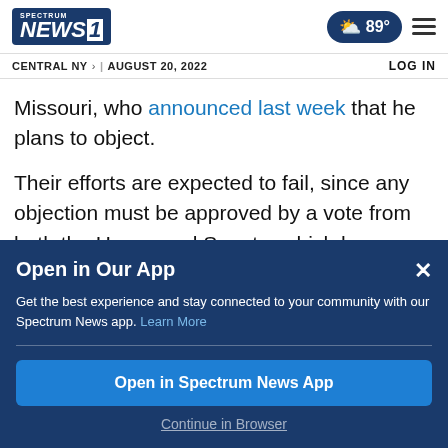Spectrum News 1 | CENTRAL NY | AUGUST 20, 2022 | 89° | LOG IN
Missouri, who announced last week that he plans to object.
Their efforts are expected to fail, since any objection must be approved by a vote from both the House and Senate, which has never
Open in Our App
Get the best experience and stay connected to your community with our Spectrum News app. Learn More
Open in Spectrum News App
Continue in Browser